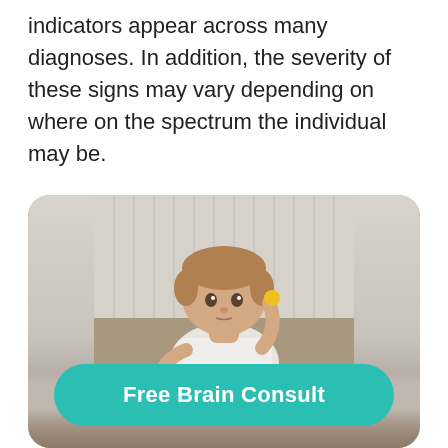indicators appear across many diagnoses. In addition, the severity of these signs may vary depending on where on the spectrum the individual may be.
[Figure (photo): A young toddler with light brown hair sitting in front of a white pleated fabric background (couch or crib), wearing a white t-shirt and holding a small yellow object near their ear, looking at the camera with a neutral expression.]
Free Brain Consult